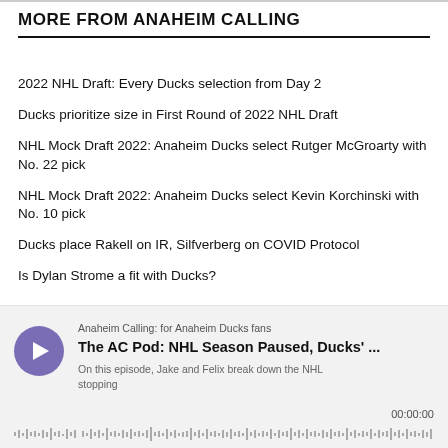MORE FROM ANAHEIM CALLING
2022 NHL Draft: Every Ducks selection from Day 2
Ducks prioritize size in First Round of 2022 NHL Draft
NHL Mock Draft 2022: Anaheim Ducks select Rutger McGroarty with No. 22 pick
NHL Mock Draft 2022: Anaheim Ducks select Kevin Korchinski with No. 10 pick
Ducks place Rakell on IR, Silfverberg on COVID Protocol
Is Dylan Strome a fit with Ducks?
[Figure (other): Podcast player widget for 'Anaheim Calling: for Anaheim Ducks fans' — episode titled 'The AC Pod: NHL Season Paused, Ducks'...' with description 'On this episode, Jake and Felix break down the NHL stopping', timestamp 00:00:00, and waveform scrubber bar at bottom.]